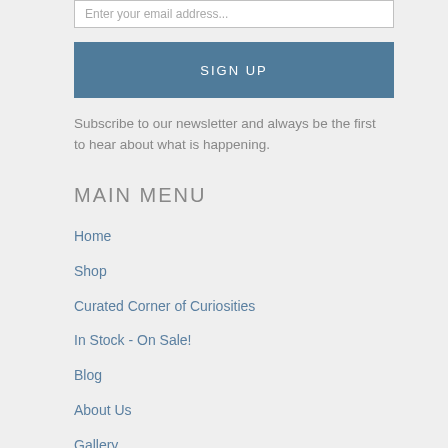Enter your email address...
SIGN UP
Subscribe to our newsletter and always be the first to hear about what is happening.
MAIN MENU
Home
Shop
Curated Corner of Curiosities
In Stock - On Sale!
Blog
About Us
Gallery
Media
Shows